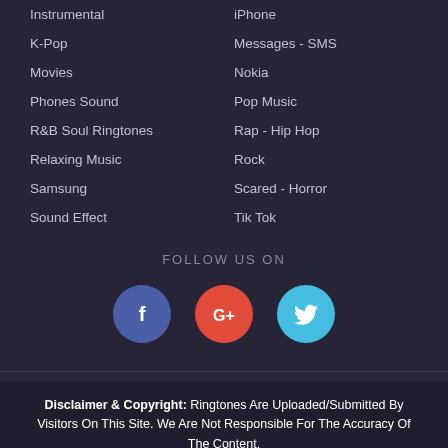Instrumental
iPhone
K-Pop
Messages - SMS
Movies
Nokia
Phones Sound
Pop Music
R&B Soul Ringtones
Rap - Hip Hop
Relaxing Music
Rock
Samsung
Scared - Horror
Sound Effect
Tik Tok
FOLLOW US ON
[Figure (infographic): Three social media icons: Facebook (blue circle with f), Google+ (red circle with G+), Twitter (cyan circle with bird)]
Disclaimer & Copyright: Ringtones Are Uploaded/Submitted By Visitors On This Site. We Are Not Responsible For The Accuracy Of The Content.